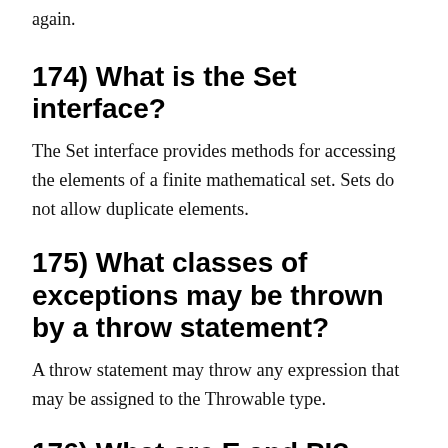again.
174) What is the Set interface?
The Set interface provides methods for accessing the elements of a finite mathematical set. Sets do not allow duplicate elements.
175) What classes of exceptions may be thrown by a throw statement?
A throw statement may throw any expression that may be assigned to the Throwable type.
176) What are E and PI?